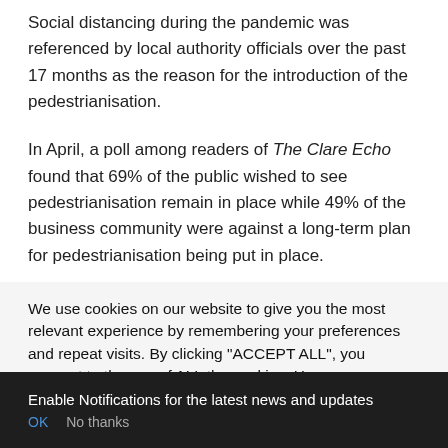Social distancing during the pandemic was referenced by local authority officials over the past 17 months as the reason for the introduction of the pedestrianisation.
In April, a poll among readers of The Clare Echo found that 69% of the public wished to see pedestrianisation remain in place while 49% of the business community were against a long-term plan for pedestrianisation being put in place.
Businesses were mixed on the potential of making the town
We use cookies on our website to give you the most relevant experience by remembering your preferences and repeat visits. By clicking "ACCEPT ALL", you consent to the use of ALL the cookies. However, you may visit "Cookie Settings" to provide a controlled consent.
Enable Notifications for the latest news and updates
OK   No thanks